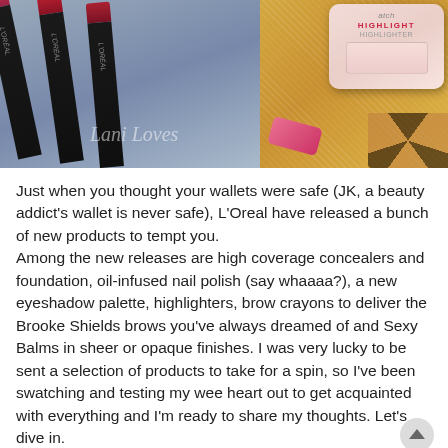[Figure (photo): Photo showing L'Oreal lipsticks/lip products in black and pink packaging on a blue background on the left, and a L'Oreal True Match Highlight compact with leopard print and glittery gold background on the right. Watermark reads 'Lani Loves' in cursive.]
Just when you thought your wallets were safe (JK, a beauty addict's wallet is never safe), L'Oreal have released a bunch of new products to tempt you.
Among the new releases are high coverage concealers and foundation, oil-infused nail polish (say whaaaa?), a new eyeshadow palette, highlighters, brow crayons to deliver the Brooke Shields brows you've always dreamed of and Sexy Balms in sheer or opaque finishes. I was very lucky to be sent a selection of products to take for a spin, so I've been swatching and testing my wee heart out to get acquainted with everything and I'm ready to share my thoughts. Let's dive in.